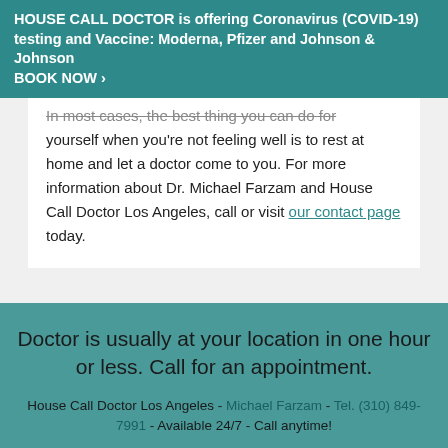HOUSE CALL DOCTOR is offering Coronavirus (COVID-19) testing and Vaccine: Moderna, Pfizer and Johnson & Johnson BOOK NOW ›
In most cases, the best thing you can do for yourself when you're not feeling well is to rest at home and let a doctor come to you. For more information about Dr. Michael Farzam and House Call Doctor Los Angeles, call or visit our contact page today.
Doctor is usually at your location in one hour or less. Call for an appointment.
House Call Doctor Los Angeles - Michael Farzam - Tel. (310) 849-7991 - Available 24/7 - Call anytime!